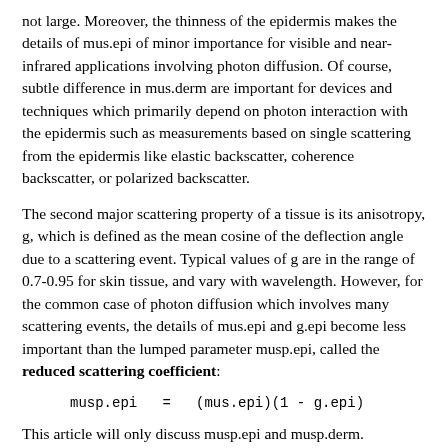not large. Moreover, the thinness of the epidermis makes the details of mus.epi of minor importance for visible and near-infrared applications involving photon diffusion. Of course, subtle difference in mus.derm are important for devices and techniques which primarily depend on photon interaction with the epidermis such as measurements based on single scattering from the epidermis like elastic backscatter, coherence backscatter, or polarized backscatter.
The second major scattering property of a tissue is its anisotropy, g, which is defined as the mean cosine of the deflection angle due to a scattering event. Typical values of g are in the range of 0.7-0.95 for skin tissue, and vary with wavelength. However, for the common case of photon diffusion which involves many scattering events, the details of mus.epi and g.epi become less important than the lumped parameter musp.epi, called the reduced scattering coefficient:
This article will only discuss musp.epi and musp.derm.
In summary, musp.epi = musp.derm to first approximation. See section 2.4 below for discussion of musp.derm.
2 Dermis